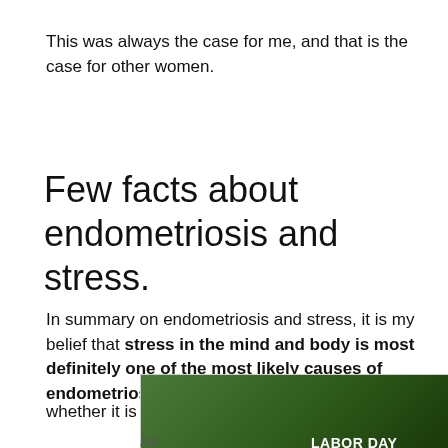This was always the case for me, and that is the case for other women.
Few facts about endometriosis and stress.
In summary on endometriosis and stress, it is my belief that stress in the mind and body is most definitely one of the most likely causes of endometriosis, whether it is caused by life stress, previous trauma, or
[Figure (photo): PUMA Labor Day Weekend Sale advertisement banner with two people wearing PUMA clothing in an outdoor setting. Text reads LABOR DAY WEEKEND SALE 30% OFF PUMA. Sidebar shows PUMA Labor Day Sale text with close button.]
Ad